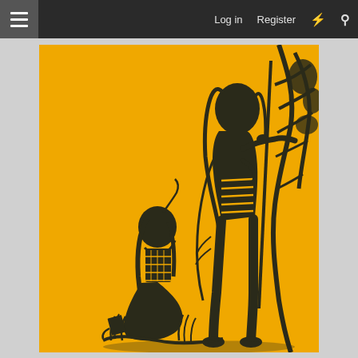≡  Log in  Register  ⚡  🔍
[Figure (illustration): Book cover of 'A History of the Brulé Sioux' by George E. Hyde with a foreword by Harry H. Anderson. Orange/yellow background with dark silhouette illustration of two Native American figures — one standing holding a spear, one seated. Author name and subtitle printed on cover.]